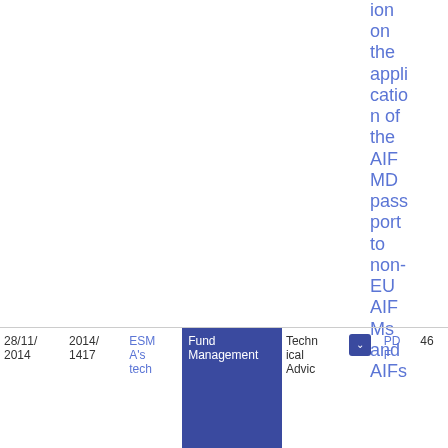ion on the application of the AIFMD passport to non-EU AIFMs and AIFs
| Date | Ref | Title | Category | Type | Format | Pages |
| --- | --- | --- | --- | --- | --- | --- |
| 28/11/2014 | 2014/1417 | ESMA's tech | Fund Management | Technical Advic | PDF | 46 |